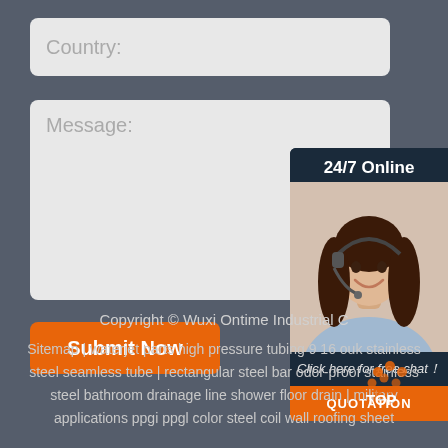Country:
Message:
Submit Now
[Figure (illustration): 24/7 online chat widget with a smiling female customer service representative wearing a headset, with a 'Click here for free chat!' message and a QUOTATION button]
Copyright © Wuxi Ontime Industrial C...
Sitemap | waterjet parts high pressure tubing 9 16 ouk stainless steel seamless tube | rectangular steel bar odor-proof stainless steel bathroom drainage line shower floor drain | military applications ppgi ppgl color steel coil wall roofing sheet